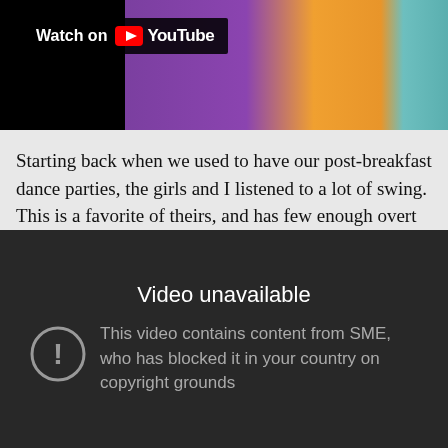[Figure (screenshot): YouTube video embed showing a person in a purple outfit with colorful background, with a 'Watch on YouTube' badge overlay]
Starting back when we used to have our post-breakfast dance parties, the girls and I listened to a lot of swing. This is a favorite of theirs, and has few enough overt sexual innuendo for M to deem it acceptable for the children.
[Figure (screenshot): YouTube video unavailable error screen on dark background showing 'Video unavailable' message with exclamation icon and text: 'This video contains content from SME, who has blocked it in your country on copyright grounds']